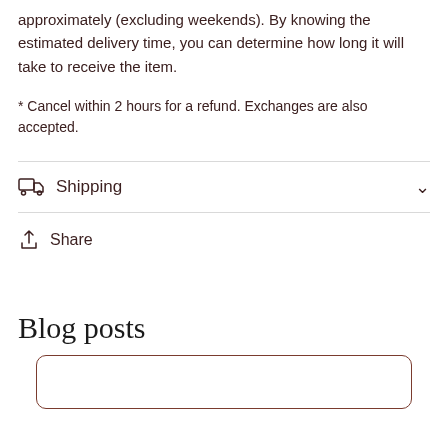approximately (excluding weekends). By knowing the estimated delivery time, you can determine how long it will take to receive the item.
* Cancel within 2 hours for a refund. Exchanges are also accepted.
Shipping
Share
Blog posts